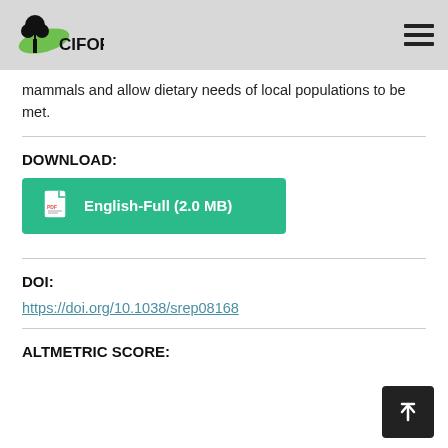CIFOR
mammals and allow dietary needs of local populations to be met.
DOWNLOAD:
[Figure (other): Green download button labeled 'English-Full (2.0 MB)' with PDF icon]
DOI:
https://doi.org/10.1038/srep08168
ALTMETRIC SCORE: